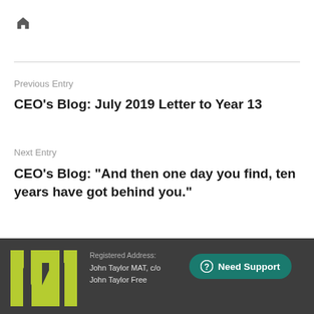[Figure (logo): Home icon (house symbol) in dark grey]
Previous Entry
CEO’s Blog: July 2019 Letter to Year 13
Next Entry
CEO’s Blog: “And then one day you find, ten years have got behind you.”
[Figure (logo): John Taylor MAT logo in yellow-green on dark footer background]
Registered Address:
John Taylor MAT, c/o
John Taylor Free
[Figure (other): Need Support button with question mark icon on teal background]